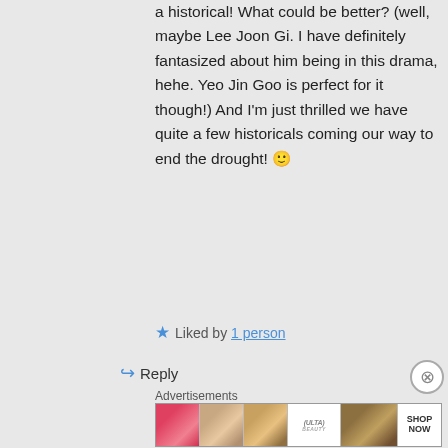a historical! What could be better? (well, maybe Lee Joon Gi. I have definitely fantasized about him being in this drama, hehe. Yeo Jin Goo is perfect for it though!) And I'm just thrilled we have quite a few historicals coming our way to end the drought! 🙂
★ Liked by 1 person
↳ Reply
Advertisements
[Figure (photo): Advertisement banner showing beauty/makeup products including lips, brush, eye, ULTA beauty logo, smokey eyes, and SHOP NOW text]